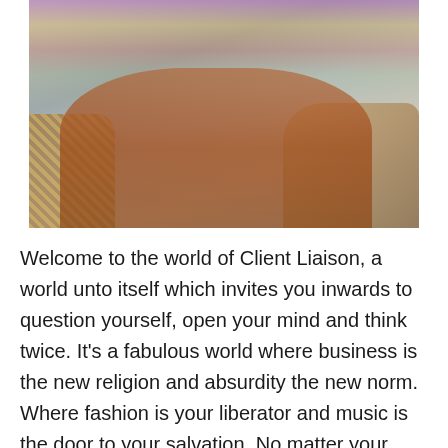[Figure (photo): A person lying on the floor surrounded by colorful flowers, wearing an orange-brown jacket/vest, with a large patterned bag on the left and a beige bag on the right. The background is a light grey-blue studio backdrop.]
Welcome to the world of Client Liaison, a world unto itself which invites you inwards to question yourself, open your mind and think twice. It's a fabulous world where business is the new religion and absurdity the new norm. Where fashion is your liberator and music is the door to your salvation. No matter your frustrations, no matter your